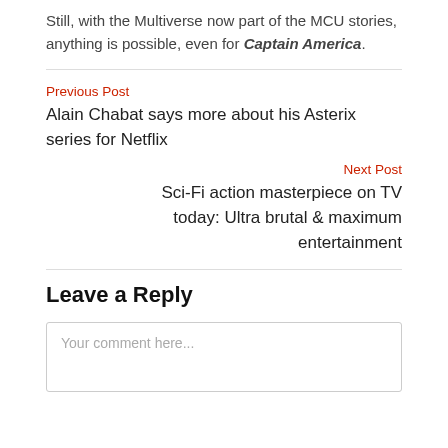Still, with the Multiverse now part of the MCU stories, anything is possible, even for Captain America.
Previous Post
Alain Chabat says more about his Asterix series for Netflix
Next Post
Sci-Fi action masterpiece on TV today: Ultra brutal & maximum entertainment
Leave a Reply
Your comment here...